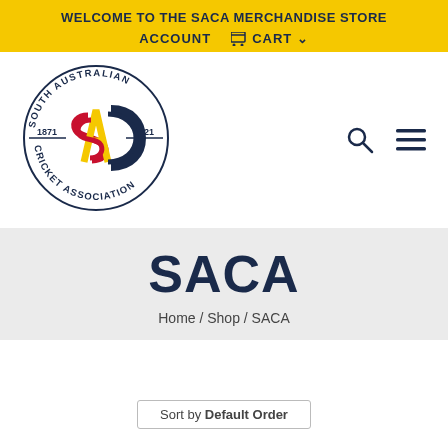WELCOME TO THE SACA MERCHANDISE STORE
ACCOUNT   🛒 CART ∨
[Figure (logo): South Australian Cricket Association (SACA) circular logo with the years 1871 and 2021, featuring interlinked letters SA and C in navy, red, and yellow colors, surrounded by text reading SOUTH AUSTRALIAN CRICKET ASSOCIATION]
SACA
Home / Shop / SACA
Sort by Default Order